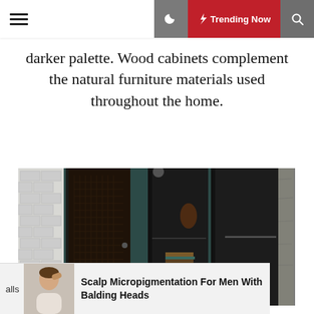☰ ☽ ⚡ Trending Now 🔍
darker palette. Wood cabinets complement the natural furniture materials used throughout the home.
[Figure (photo): Interior hallway with dark wood doors, teal-painted walls, exposed brick on the left, concrete textured wall on the right, with a small wooden shelf and mirror decoration]
alls  Scalp Micropigmentation For Men With Balding Heads